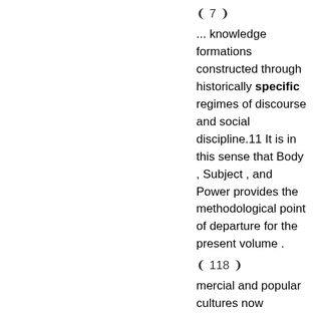❨ 7 ❩
... knowledge formations constructed through historically specific regimes of discourse and social discipline.11 It is in this sense that Body , Subject , and Power provides the methodological point of departure for the present volume .
❨ 118 ❩
mercial and popular cultures now flourishing in each of these areas are locally specific and often unpredictable . However seductive the dream of a unitary Chinese modernity spanning all geographic areas of Chinese life